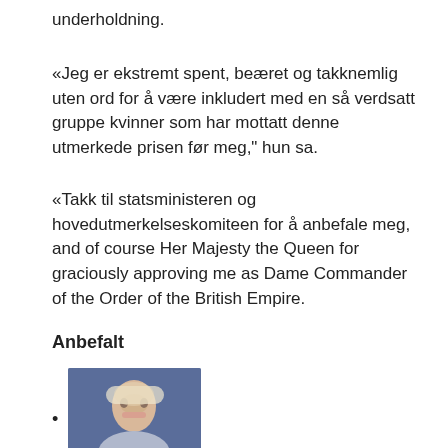underholdning.
«Jeg er ekstremt spent, beæret og takknemlig uten ord for å være inkludert med en så verdsatt gruppe kvinner som har mottatt denne utmerkede prisen før meg," hun sa.
«Takk til statsministeren og hovedutmerkelseskomiteen for å anbefale meg, and of course Her Majesty the Queen for graciously approving me as Dame Commander of the Order of the British Empire.
Anbefalt
[thumbnail image of a person]